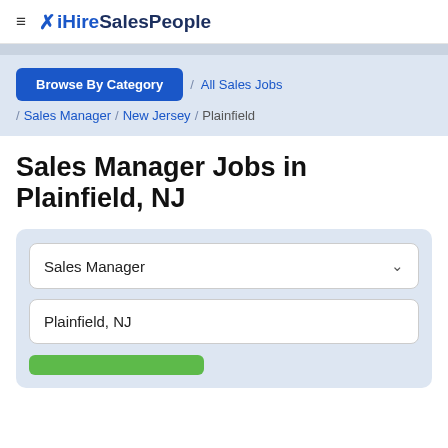≡ ✗ iHireSalesPeople
Browse By Category / All Sales Jobs / Sales Manager / New Jersey / Plainfield
Sales Manager Jobs in Plainfield, NJ
Sales Manager
Plainfield, NJ